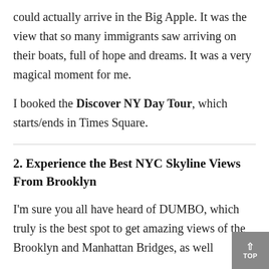Titanic's passengers would have been if they could actually arrive in the Big Apple. It was the view that so many immigrants saw arriving on their boats, full of hope and dreams. It was a very magical moment for me.

I booked the Discover NY Day Tour, which starts/ends in Times Square.
2. Experience the Best NYC Skyline Views From Brooklyn
I'm sure you all have heard of DUMBO, which truly is the best spot to get amazing views of the Brooklyn and Manhattan Bridges, as well